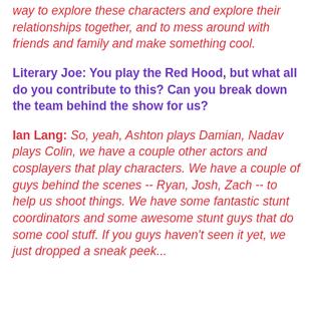way to explore these characters and explore their relationships together, and to mess around with friends and family and make something cool.
Literary Joe: You play the Red Hood, but what all do you contribute to this? Can you break down the team behind the show for us?
Ian Lang: So, yeah, Ashton plays Damian, Nadav plays Colin, we have a couple other actors and cosplayers that play characters. We have a couple of guys behind the scenes -- Ryan, Josh, Zach -- to help us shoot things. We have some fantastic stunt coordinators and some awesome stunt guys that do some cool stuff. If you guys haven't seen it yet, we just dropped a sneak peek...